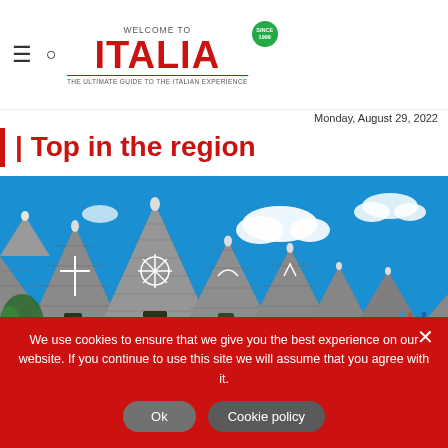WELCOME TO ITALIA — The ultimate guide to the Italian experience
Monday, August 29, 2022
Top in the region
[Figure (photo): Trulli buildings in Alberobello, Puglia — conical stone roofs with white painted symbols against a bright blue sky with white clouds]
We use cookies to ensure that we give you the best experience on our website. If you continue to use this site we will assume that you agree with it.